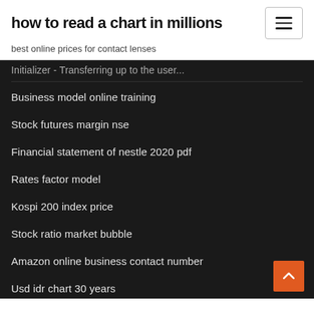how to read a chart in millions
best online prices for contact lenses
Business model online training
Stock futures margin nse
Financial statement of nestle 2020 pdf
Rates factor model
Kospi 200 index price
Stock ratio market bubble
Amazon online business contact number
Usd idr chart 30 years
Dual class stock companies
Difference between contract management and technical project